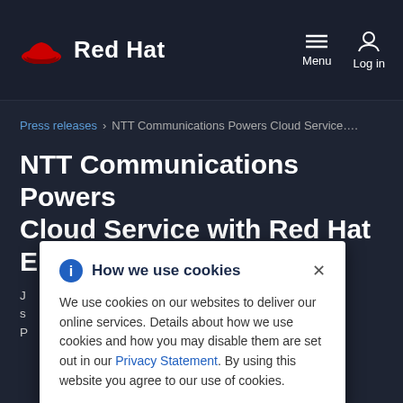Red Hat — Menu | Log in
Press releases › NTT Communications Powers Cloud Service….
NTT Communications Powers Cloud Service with Red Hat
…ew cloud …ertified Cloud
How we use cookies

We use cookies on our websites to deliver our online services. Details about how we use cookies and how you may disable them are set out in our Privacy Statement. By using this website you agree to our use of cookies.